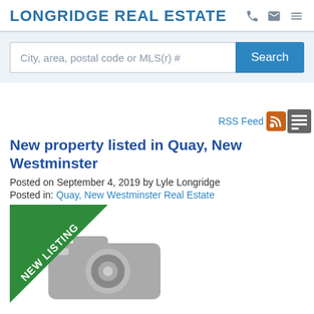LONGRIDGE REAL ESTATE
City, area, postal code or MLS(r) #
Search
RSS Feed
New property listed in Quay, New Westminster
Posted on September 4, 2019 by Lyle Longridge
Posted in: Quay, New Westminster Real Estate
[Figure (photo): New listing placeholder image with camera icon and green 'NEW LISTING' diagonal banner]